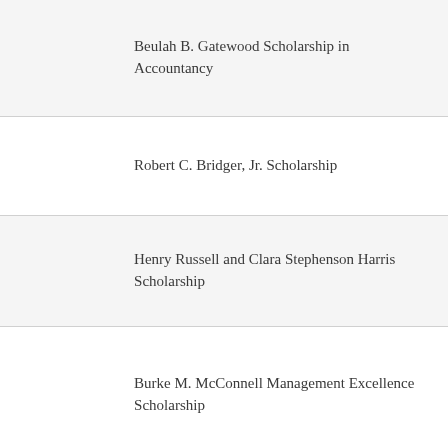|  | Beulah B. Gatewood Scholarship in Accountancy |
|  | Robert C. Bridger, Jr. Scholarship |
|  | Henry Russell and Clara Stephenson Harris Scholarship |
|  | Burke M. McConnell Management Excellence Scholarship |
|  | Augustine John Taylor and Roby Ellis Taylor Scholarship |